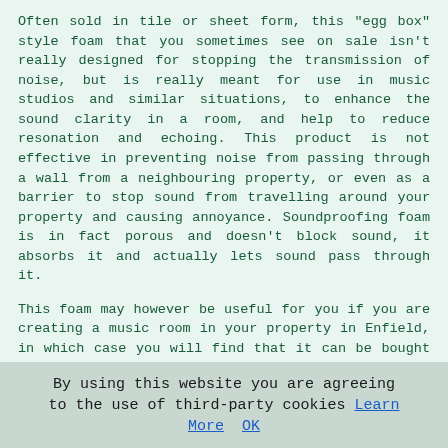Often sold in tile or sheet form, this "egg box" style foam that you sometimes see on sale isn't really designed for stopping the transmission of noise, but is really meant for use in music studios and similar situations, to enhance the sound clarity in a room, and help to reduce resonation and echoing. This product is not effective in preventing noise from passing through a wall from a neighbouring property, or even as a barrier to stop sound from travelling around your property and causing annoyance. Soundproofing foam is in fact porous and doesn't block sound, it absorbs it and actually lets sound pass through it.
This foam may however be useful for you if you are creating a music room in your property in Enfield, in which case you will find that it can be bought in different thicknesses and sheet sizes. (Tags: Music Room Soundproofing Enfield, Acoustic Foam Enfield, Soundproof Foam Enfield, Soundproofing Foam Enfield).
AMW (Acoustic Mineral Wool)
Acoustic mineral wool (AMW) is one of the most useful products on the market for the soundproofing of properties
By using this website you are agreeing to the use of third-party cookies Learn More  OK